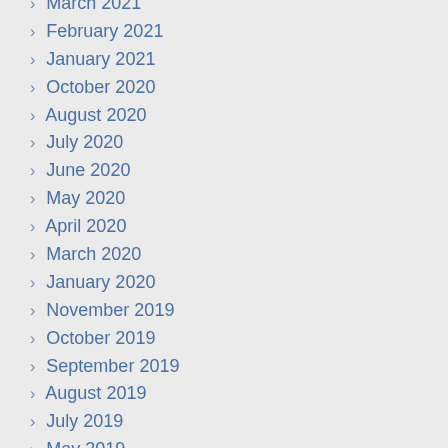March 2021
February 2021
January 2021
October 2020
August 2020
July 2020
June 2020
May 2020
April 2020
March 2020
January 2020
November 2019
October 2019
September 2019
August 2019
July 2019
May 2019
April 2019
March 2019
February 2019
January 2019
December 2018